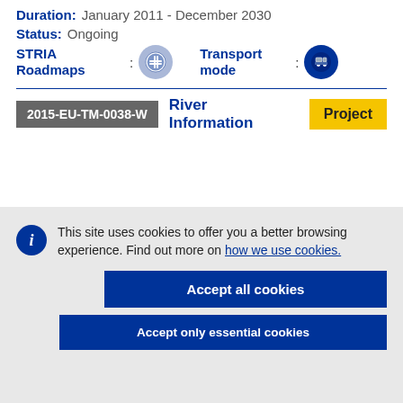Duration: January 2011 - December 2030
Status: Ongoing
STRIA Roadmaps : [icon] Transport mode : [icon]
2015-EU-TM-0038-W River Information Project
This site uses cookies to offer you a better browsing experience. Find out more on how we use cookies.
Accept all cookies
Accept only essential cookies